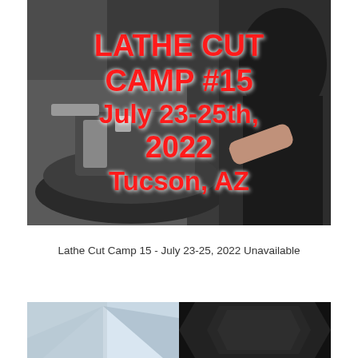[Figure (photo): Photo of a person operating a lathe cutting machine. Overlaid text reads: LATHE CUT CAMP #15, July 23-25th, 2022, Tucson, AZ]
Lathe Cut Camp 15 - July 23-25, 2022 Unavailable
[Figure (photo): Two images side by side: left shows a light blue metallic disc/record, right shows a dark black surface with a similar concave shape.]